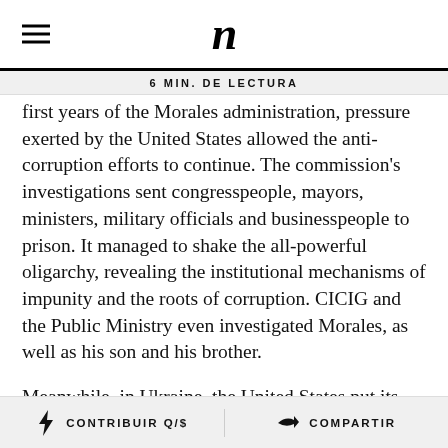n
6 MIN. DE LECTURA
first years of the Morales administration, pressure exerted by the United States allowed the anti-corruption efforts to continue. The commission's investigations sent congresspeople, mayors, ministers, military officials and businesspeople to prison. It managed to shake the all-powerful oligarchy, revealing the institutional mechanisms of impunity and the roots of corruption. CICIG and the Public Ministry even investigated Morales, as well as his son and his brother.
Meanwhile, in Ukraine, the United States put its diplomatic weight behind the fight against kleptocracy. For example, U.S. pressure led to the creation of an independent prosecutor working with the support of the FBI.
CONTRIBUIR Q/$ · COMPARTIR